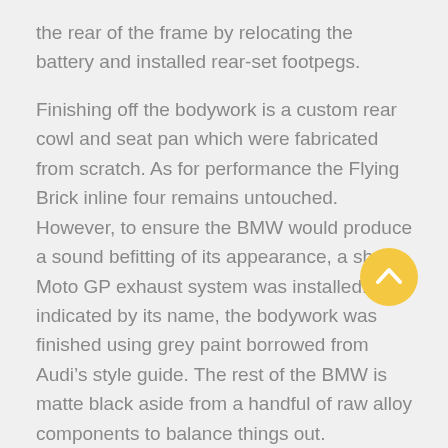the rear of the frame by relocating the battery and installed rear-set footpegs.
Finishing off the bodywork is a custom rear cowl and seat pan which were fabricated from scratch. As for performance the Flying Brick inline four remains untouched. However, to ensure the BMW would produce a sound befitting of its appearance, a short Moto GP exhaust system was installed. As indicated by its name, the bodywork was finished using grey paint borrowed from Audi’s style guide. The rest of the BMW is matte black aside from a handful of raw alloy components to balance things out.
[Figure (illustration): Yellow circular button with upward chevron arrow icon]
If you’d asked me last week if I’d ever buy a BMW K100 flying brick I’d have responded with an emphatic no. However today, for some reason,